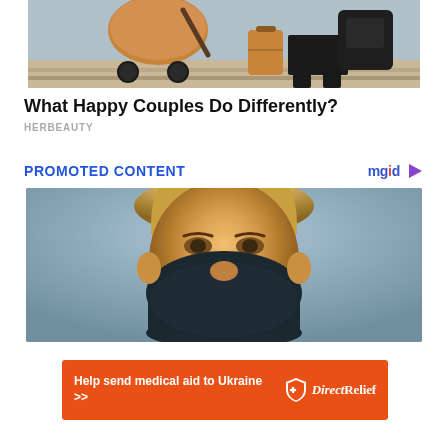[Figure (photo): Photo of a woman with a baby stroller and luggage on steps]
What Happy Couples Do Differently?
HERBEAUTY
PROMOTED CONTENT
[Figure (logo): mgid logo with play button icon]
[Figure (photo): Close-up photo of a person wearing a dark face mask]
[Figure (infographic): Orange advertisement banner: Help send medical aid to Ukraine >> with Direct Relief logo]